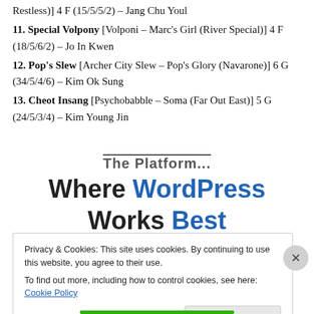Restless)] 4 F (15/5/5/2) – Jang Chu Youl
11. Special Volpony [Volponi – Marc's Girl (River Special)] 4 F (18/5/6/2) – Jo In Kwen
12. Pop's Slew [Archer City Slew – Pop's Glory (Navarone)] 6 G (34/5/4/6) – Kim Ok Sung
13. Cheot Insang [Psychobabble – Soma (Far Out East)] 5 G (24/5/3/4) – Kim Young Jin
[Figure (screenshot): WordPress ad banner showing 'The Platform Where WordPress Works Best' with WordPress in blue]
Privacy & Cookies: This site uses cookies. By continuing to use this website, you agree to their use.
To find out more, including how to control cookies, see here: Cookie Policy
Close and accept